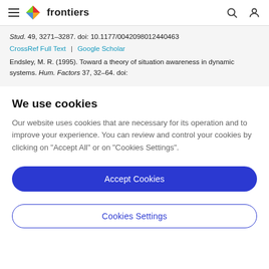frontiers (navigation bar with hamburger menu, logo, search and user icons)
Stud. 49, 3271–3287. doi: 10.1177/0042098012440463
CrossRef Full Text | Google Scholar
Endsley, M. R. (1995). Toward a theory of situation awareness in dynamic systems. Hum. Factors 37, 32–64. doi:
We use cookies
Our website uses cookies that are necessary for its operation and to improve your experience. You can review and control your cookies by clicking on "Accept All" or on "Cookies Settings".
Accept Cookies
Cookies Settings